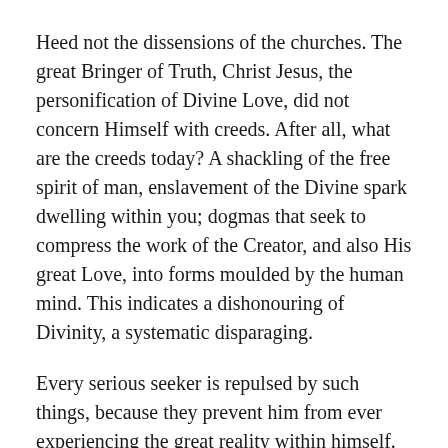Heed not the dissensions of the churches. The great Bringer of Truth, Christ Jesus, the personification of Divine Love, did not concern Himself with creeds. After all, what are the creeds today? A shackling of the free spirit of man, enslavement of the Divine spark dwelling within you; dogmas that seek to compress the work of the Creator, and also His great Love, into forms moulded by the human mind. This indicates a dishonouring of Divinity, a systematic disparaging.
Every serious seeker is repulsed by such things, because they prevent him from ever experiencing the great reality within himself. As a result his longing for the Truth becomes increasingly hopeless, and finally he despairs of himself and of the world!
Therefore awake! Shatter the walls of dogma within you, tear off the bandage, so that the pure Light of the Highest may shine radiantly! The...